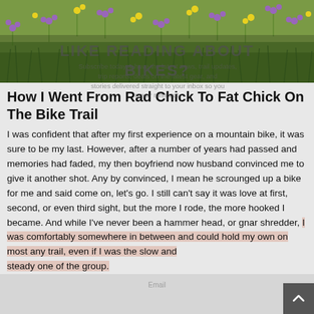[Figure (photo): Wildflower meadow banner photo with green grasses, purple and yellow wildflowers]
LIKE READING ABOUT BIKES?
Subscribe today & have the latest news, trail updates, trip reports, deals on the latest gear, and stories delivered straight to your inbox so you never miss out.
How I Went From Rad Chick To Fat Chick On The Bike Trail
I was confident that after my first experience on a mountain bike, it was sure to be my last. However, after a number of years had passed and memories had faded, my then boyfriend now husband convinced me to give it another shot. Any by convinced, I mean he scrounged up a bike for me and said come on, let's go. I still can't say it was love at first, second, or even third sight, but the more I rode, the more hooked I became. And while I've never been a hammer head, or gnar shredder, I was comfortably somewhere in between and could hold my own on most any trail, even if I was the slow and steady one of the group.